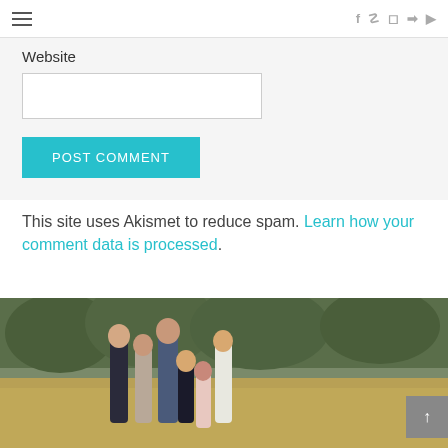≡  (social icons: f, pinterest, instagram, twitter, youtube)
Website
POST COMMENT
This site uses Akismet to reduce spam. Learn how your comment data is processed.
[Figure (photo): Family photo of two adults and four children standing outdoors in a field with trees in the background]